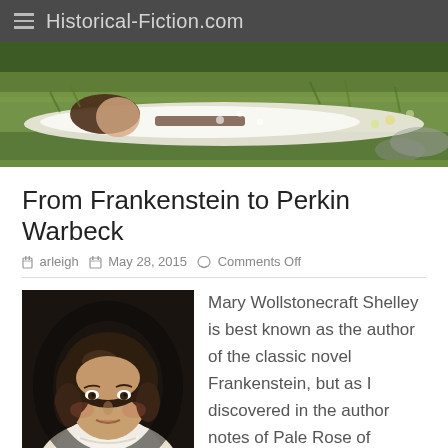Historical-Fiction.com
[Figure (photo): Banner image showing a woman in a white dress lying in a field of grass and wildflowers, reminiscent of pre-Raphaelite painting style.]
From Frankenstein to Perkin Warbeck
arleigh   May 28, 2015   Comments Off
[Figure (photo): Portrait painting of Mary Wollstonecraft Shelley, showing a woman with dark curly hair and a white dress against a dark background.]
Mary Wollstonecraft Shelley is best known as the author of the classic novel Frankenstein, but as I discovered in the author notes of Pale Rose of England, she